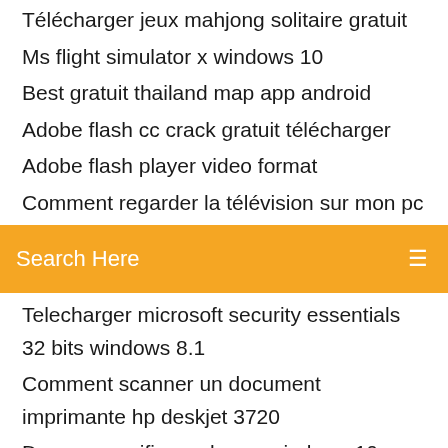Télécharger jeux mahjong solitaire gratuit
Ms flight simulator x windows 10
Best gratuit thailand map app android
Adobe flash cc crack gratuit télécharger
Adobe flash player video format
Comment regarder la télévision sur mon pc
[Figure (screenshot): Orange search bar with text 'Search Here' and a menu icon on the right]
Telecharger microsoft security essentials 32 bits windows 8.1
Comment scanner un document imprimante hp deskjet 3720
Descargar wifi guard para windows 10
Google chrome mac mojave
Se mettre en créatif sur minecraft
Windows installer windows 7 update
Convertir pdf en word en ligne gratuit sans installation
Regarder la tv avec windows 10
Sony vegas pro 14 gratuit télécharger windows 7